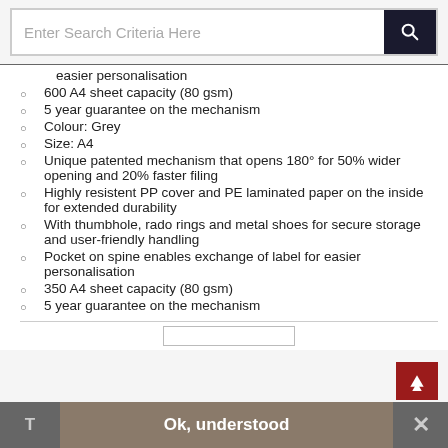[Figure (screenshot): Search bar with text 'Enter Search Criteria Here' and a dark search button with magnifying glass icon]
easier personalisation
600 A4 sheet capacity (80 gsm)
5 year guarantee on the mechanism
Colour: Grey
Size: A4
Unique patented mechanism that opens 180° for 50% wider opening and 20% faster filing
Highly resistent PP cover and PE laminated paper on the inside for extended durability
With thumbhole, rado rings and metal shoes for secure storage and user-friendly handling
Pocket on spine enables exchange of label for easier personalisation
350 A4 sheet capacity (80 gsm)
5 year guarantee on the mechanism